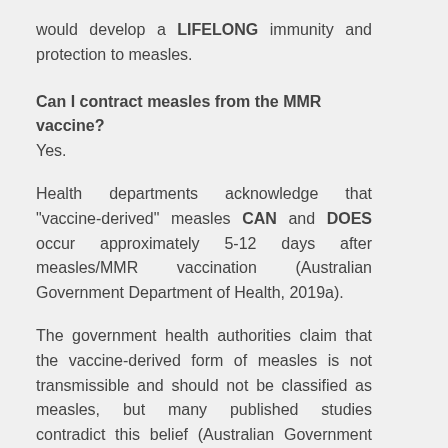would develop a LIFELONG immunity and protection to measles.
Can I contract measles from the MMR vaccine?
Yes.
Health departments acknowledge that "vaccine-derived" measles CAN and DOES occur approximately 5-12 days after measles/MMR vaccination (Australian Government Department of Health, 2019a).
The government health authorities claim that the vaccine-derived form of measles is not transmissible and should not be classified as measles, but many published studies contradict this belief (Australian Government Department of Health, 2019a; Rosen et al., 2014).